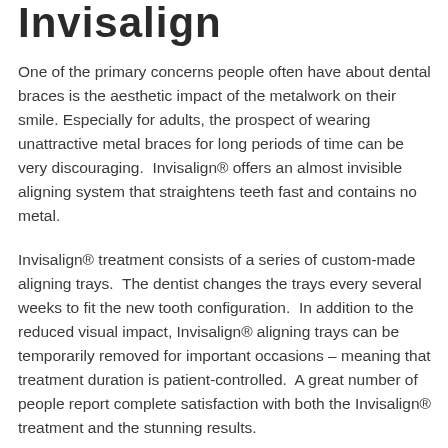Invisalign
One of the primary concerns people often have about dental braces is the aesthetic impact of the metalwork on their smile. Especially for adults, the prospect of wearing unattractive metal braces for long periods of time can be very discouraging. Invisalign® offers an almost invisible aligning system that straightens teeth fast and contains no metal.
Invisalign® treatment consists of a series of custom-made aligning trays. The dentist changes the trays every several weeks to fit the new tooth configuration. In addition to the reduced visual impact, Invisalign® aligning trays can be temporarily removed for important occasions – meaning that treatment duration is patient-controlled. A great number of people report complete satisfaction with both the Invisalign® treatment and the stunning results.